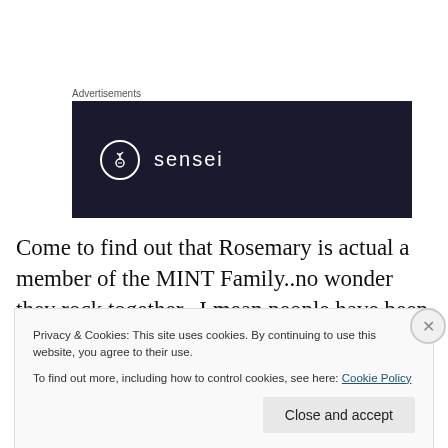Advertisements
[Figure (logo): Sensei brand advertisement banner — dark navy background with a white circle containing a tree icon and the word 'sensei' in white letters]
Come to find out that Rosemary is actual a member of the MINT Family..no wonder they rock together...I mean people have been putting MINT Jelly on their Rosemary Lamb for years...why not just drink it...minus the lamb...
Privacy & Cookies: This site uses cookies. By continuing to use this website, you agree to their use.
To find out more, including how to control cookies, see here: Cookie Policy